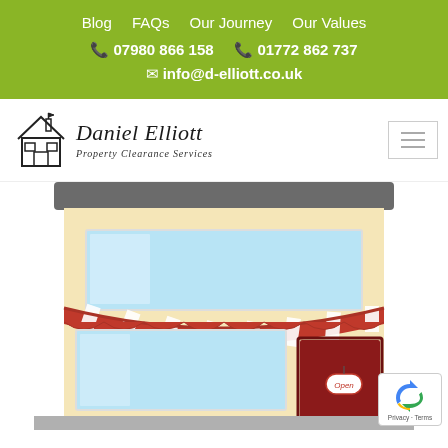Blog   FAQs   Our Journey   Our Values
📞 07980 866 158   📞 01772 862 737
✉ info@d-elliott.co.uk
[Figure (logo): Daniel Elliott Property Clearance Services logo with house illustration]
[Figure (illustration): Cartoon illustration of a shop front with yellow walls, red and white striped awning, large display windows, a red door with an 'Open' sign, and a grey roof/overhang]